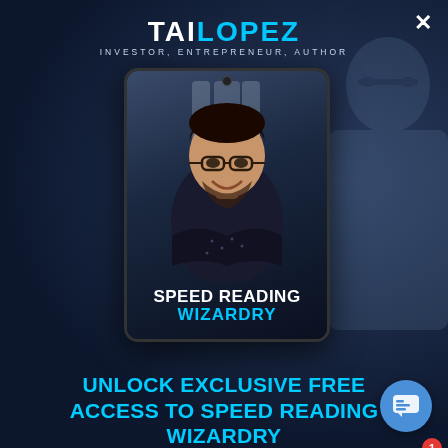[Figure (screenshot): Dark blue background with large male face silhouette on right side]
X
TAILOPEZ INVESTOR, ENTREPRENEUR, AUTHOR
[Figure (illustration): Tablet device showing a man with crossed arms smiling, with text SPEED READING WIZARDRY on the book cover]
UNLOCK EXCLUSIVE FREE ACCESS TO SPEED READING WIZARDRY